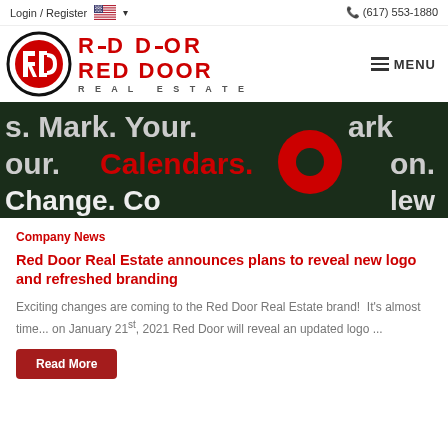Login / Register  (617) 553-1880
[Figure (logo): Red Door Real Estate logo with RD monogram in circle and MENU hamburger button]
[Figure (photo): Dark green hero banner with text: Mark. Your. Calendars. Change. Co... with a red circle graphic]
Company News
Red Door Real Estate announces plans to reveal new logo and refreshed branding
Exciting changes are coming to the Red Door Real Estate brand!  It's almost time... on January 21st, 2021 Red Door will reveal an updated logo ...
Read More